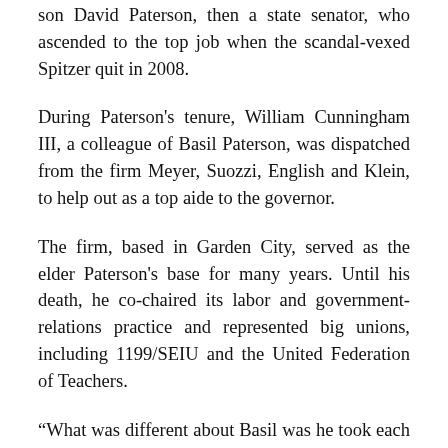son David Paterson, then a state senator, who ascended to the top job when the scandal-vexed Spitzer quit in 2008.
During Paterson's tenure, William Cunningham III, a colleague of Basil Paterson, was dispatched from the firm Meyer, Suozzi, English and Klein, to help out as a top aide to the governor.
The firm, based in Garden City, served as the elder Paterson's base for many years. Until his death, he co-chaired its labor and government-relations practice and represented big unions, including 1199/SEIU and the United Federation of Teachers.
“What was different about Basil was he took each person on his or her own merits. He probably had enemies, but I can't tell you one and I'd been around Basil since 1970,” said the firm's